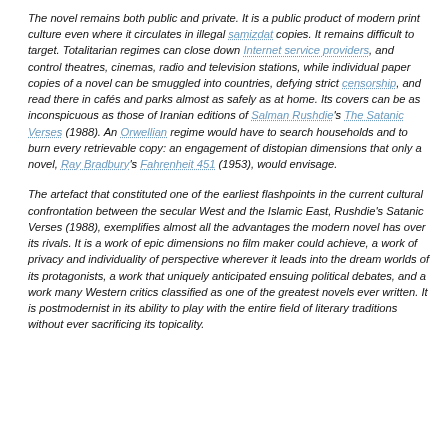The novel remains both public and private. It is a public product of modern print culture even where it circulates in illegal samizdat copies. It remains difficult to target. Totalitarian regimes can close down Internet service providers, and control theatres, cinemas, radio and television stations, while individual paper copies of a novel can be smuggled into countries, defying strict censorship, and read there in cafés and parks almost as safely as at home. Its covers can be as inconspicuous as those of Iranian editions of Salman Rushdie's The Satanic Verses (1988). An Orwellian regime would have to search households and to burn every retrievable copy: an engagement of distopian dimensions that only a novel, Ray Bradbury's Fahrenheit 451 (1953), would envisage.
The artefact that constituted one of the earliest flashpoints in the current cultural confrontation between the secular West and the Islamic East, Rushdie's Satanic Verses (1988), exemplifies almost all the advantages the modern novel has over its rivals. It is a work of epic dimensions no film maker could achieve, a work of privacy and individuality of perspective wherever it leads into the dream worlds of its protagonists, a work that uniquely anticipated ensuing political debates, and a work many Western critics classified as one of the greatest novels ever written. It is postmodernist in its ability to play with the entire field of literary traditions without ever sacrificing its topicality.